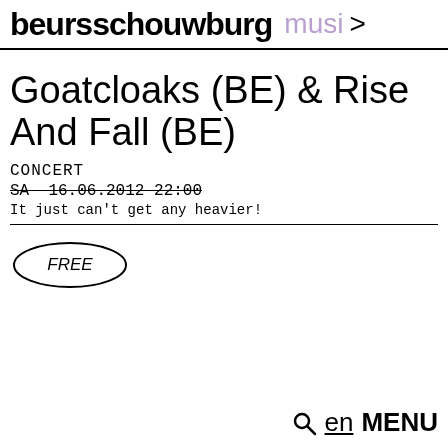beursschouwburg musi >
Goatcloaks (BE) & Rise And Fall (BE)
CONCERT
SA 16.06.2012 22:00
It just can't get any heavier!
[Figure (other): Oval badge with the word FREE in italic]
🔍 en MENU